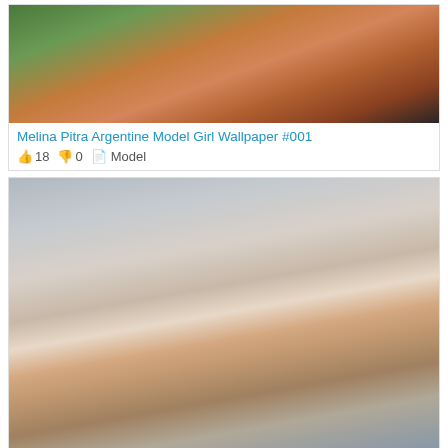[Figure (photo): Photo of Melina Pitra, Argentine model, partial torso visible, tanned skin, blonde hair, outdoor background with green foliage]
Melina Pitra Argentine Model Girl Wallpaper #001
👍 18 👎 0 📁 Model
[Figure (photo): Smiling blue-eyed Angelina Petrova Ukrainian model girl wearing a pink/gray beanie hat and scarf, winter outdoor setting with snow]
Smiling Blue-eyed Angelina Petrova Ukrainian Model Girl ...
👍 29 👎 0 📁 Model